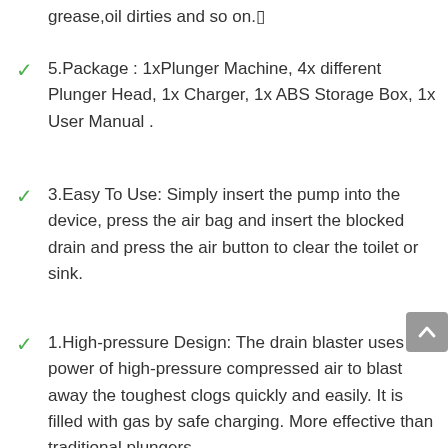grease,oil dirties and so on.
5.Package : 1xPlunger Machine, 4x different Plunger Head, 1x Charger, 1x ABS Storage Box, 1x User Manual .
3.Easy To Use: Simply insert the pump into the device, press the air bag and insert the blocked drain and press the air button to clear the toilet or sink.
1.High-pressure Design: The drain blaster uses the power of high-pressure compressed air to blast away the toughest clogs quickly and easily. It is filled with gas by safe charging. More effective than traditional plungers.